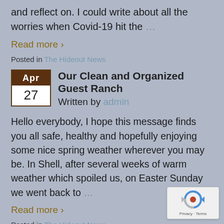and reflect on. I could write about all the worries when Covid-19 hit the …
Read more ›
Posted in The Hideout News
Our Clean and Organized Guest Ranch
Written by admin
Hello everybody, I hope this message finds you all safe, healthy and hopefully enjoying some nice spring weather wherever you may be. In Shell, after several weeks of warm weather which spoiled us, on Easter Sunday we went back to …
Read more ›
Posted in The Hideout News